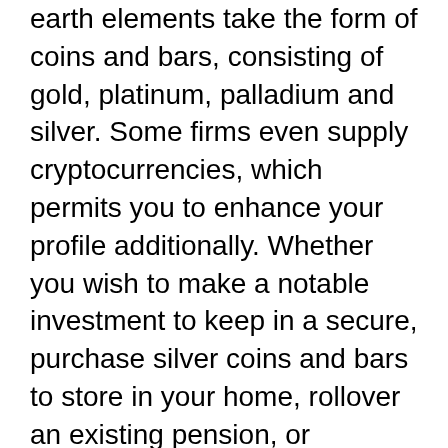earth elements take the form of coins and bars, consisting of gold, platinum, palladium and silver. Some firms even supply cryptocurrencies, which permits you to enhance your profile additionally. Whether you wish to make a notable investment to keep in a secure, purchase silver coins and bars to store in your home, rollover an existing pension, or organize a self directed IRA (or gold IRA), gold investment firm can guide you in the process.
As a result of the current media insurance coverage rare-earth elements have obtained, a lot more companies are starting to offer services. Certainly, with boosted competition comes much better bargains for capitalists. However, many individuals locate it difficult